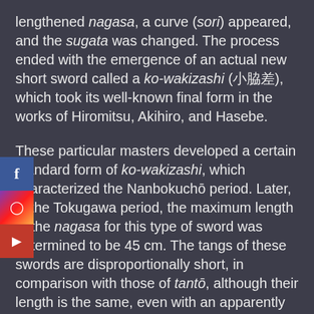lengthened nagasa, a curve (sori) appeared, and the sugata was changed. The process ended with the emergence of an actual new short sword called a ko-wakizashi (小脇差), which took its well-known final form in the works of Hiromitsu, Akihiro, and Hasebe.
These particular masters developed a certain standard form of ko-wakizashi, which characterized the Nanbokuchō period. Later, in the Tokugawa period, the maximum length of the nagasa for this type of sword was determined to be 45 cm. The tangs of these swords are disproportionally short, in comparison with those of tantō, although their length is the same, even with an apparently longer blade nagasa. The lengths of the tangs (nakago nagasa), among all surviving signed ko-wakizashi (Jūyō and Tokubetsu Jūyō), measure as follows:
Hasabe Kuninobu, average nakago nagasa = 9.2 cm